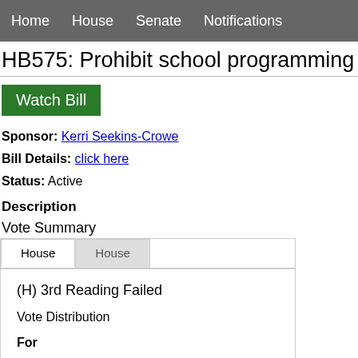Home   House   Senate   Notifications
HB575: Prohibit school programming that m…
Watch Bill
Sponsor: Kerri Seekins-Crowe
Bill Details: click here
Status: Active
Description
Vote Summary
| House | House |
| --- | --- |
| (H) 3rd Reading Failed |  |
| Vote Distribution |  |
| For |  |
| Republican: 49 |  |
| Against |  |
| Democrat: 33 |  |
| Republican: 17 |  |